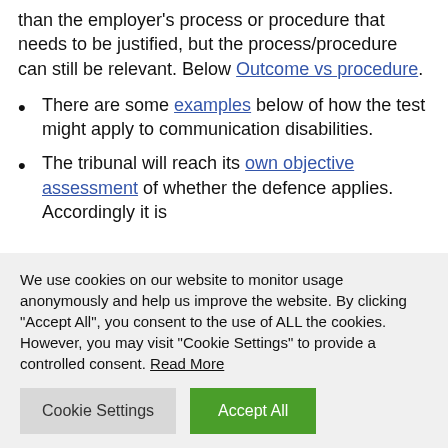than the employer's process or procedure that needs to be justified, but the process/procedure can still be relevant. Below Outcome vs procedure.
There are some examples below of how the test might apply to communication disabilities.
The tribunal will reach its own objective assessment of whether the defence applies. Accordingly it is
We use cookies on our website to monitor usage anonymously and help us improve the website. By clicking "Accept All", you consent to the use of ALL the cookies. However, you may visit "Cookie Settings" to provide a controlled consent. Read More